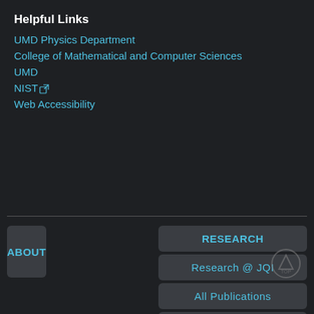Helpful Links
UMD Physics Department
College of Mathematical and Computer Sciences
UMD
NIST ⊞
Web Accessibility
ABOUT
RESEARCH
Research @ JQI
All Publications
PFC Publications
Theses
Presentations